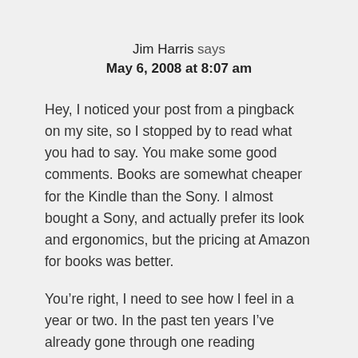Jim Harris says
May 6, 2008 at 8:07 am
Hey, I noticed your post from a pingback on my site, so I stopped by to read what you had to say. You make some good comments. Books are somewhat cheaper for the Kindle than the Sony. I almost bought a Sony, and actually prefer its look and ergonomics, but the pricing at Amazon for books was better.
You’re right, I need to see how I feel in a year or two. In the past ten years I’ve already gone through one reading transformation: the audio book. I carry my iPod everywhere and listen to